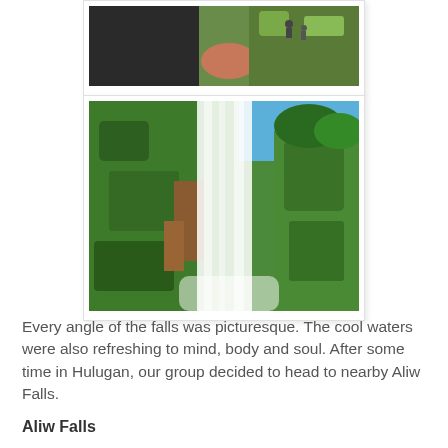[Figure (photo): Partial view of a person in dark clothing at a green rocky area with other people in background — top portion of image cropped]
[Figure (photo): A tall waterfall cascading down a mossy green cliff face with lush tropical vegetation and blue sky visible at top]
Every angle of the falls was picturesque. The cool waters were also refreshing to mind, body and soul. After some time in Hulugan, our group decided to head to nearby Aliw Falls.
Aliw Falls